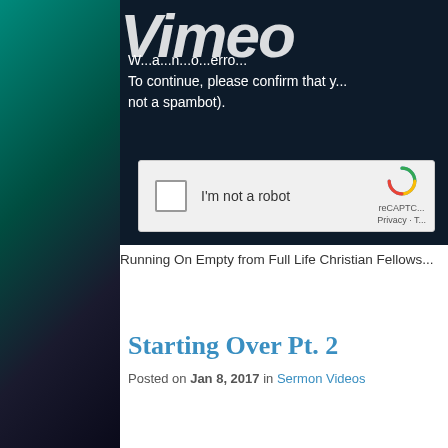[Figure (screenshot): Left sidebar with teal-to-dark gradient background]
[Figure (screenshot): Vimeo error page showing reCAPTCHA verification. Text reads: 'W...a...n...o...erro... To continue, please confirm that y... not a spambot). With reCAPTCHA checkbox labeled I'm not a robot.]
Running On Empty from Full Life Christian Fellows...
Starting Over Pt. 2
Posted on Jan 8, 2017 in Sermon Videos